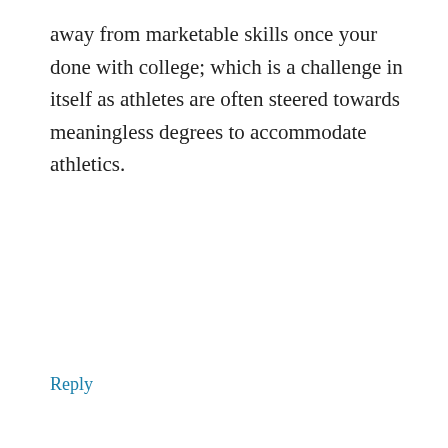away from marketable skills once your done with college; which is a challenge in itself as athletes are often steered towards meaningless degrees to accommodate athletics.
Reply
[Figure (illustration): Circular avatar icon with purple dashed/dotted border pattern and small purple filled dots arranged in a circle on white background]
Roy Hendley
February 11, 2016 at 10:03 am
Well said Andy…..
Reply